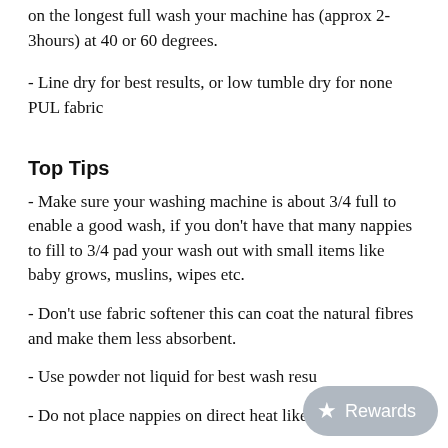on the longest full wash your machine has (approx 2-3hours) at 40 or 60 degrees.
- Line dry for best results, or low tumble dry for none PUL fabric
Top Tips
- Make sure your washing machine is about 3/4 full to enable a good wash, if you don't have that many nappies to fill to 3/4 pad your wash out with small items like baby grows, muslins, wipes etc.
- Don't use fabric softener this can coat the natural fibres and make them less absorbent.
- Use powder not liquid for best wash results
- Do not place nappies on direct heat like
- Never use...